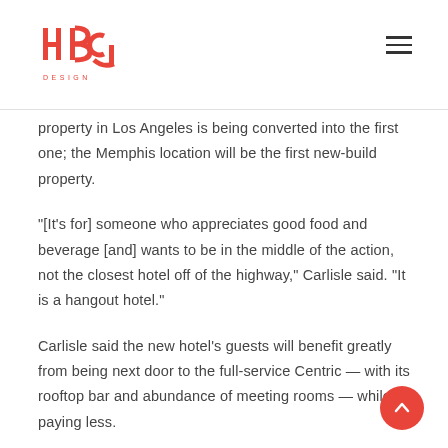hbg design logo and navigation menu
property in Los Angeles is being converted into the first one; the Memphis location will be the first new-build property.
"[It's for] someone who appreciates good food and beverage [and] wants to be in the middle of the action, not the closest hotel off of the highway," Carlisle said. "It is a hangout hotel."
Carlisle said the new hotel's guests will benefit greatly from being next door to the full-service Centric — with its rooftop bar and abundance of meeting rooms — while paying less.
With the Centric set to open in March 2021,